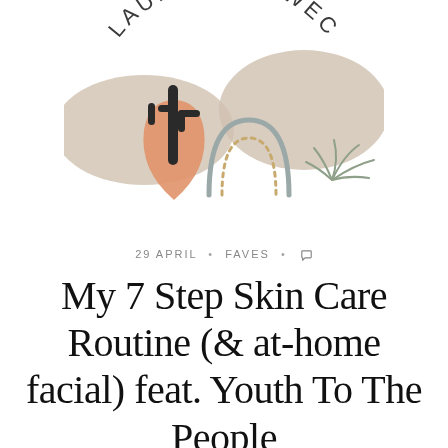[Figure (logo): Lauren Schwec blog logo featuring illustrated desert elements: beige mountain shapes, orange teardrop/bag shape, black cactus, grey arch/rainbow outline, dotted beige arch, sage green plant fronds, and the text 'LAUREN SCHWEC' in spaced uppercase letters arranged in an arc]
29 APRIL · FAVES · [comment icon]
My 7 Step Skin Care Routine (& at-home facial) feat. Youth To The People